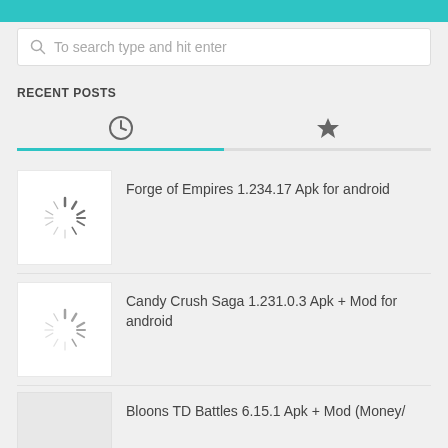To search type and hit enter
RECENT POSTS
[Figure (screenshot): Tab icons: clock icon (active) and star icon, with teal underline on clock tab]
Forge of Empires 1.234.17 Apk for android
Candy Crush Saga 1.231.0.3 Apk + Mod for android
Bloons TD Battles 6.15.1 Apk + Mod (Money/